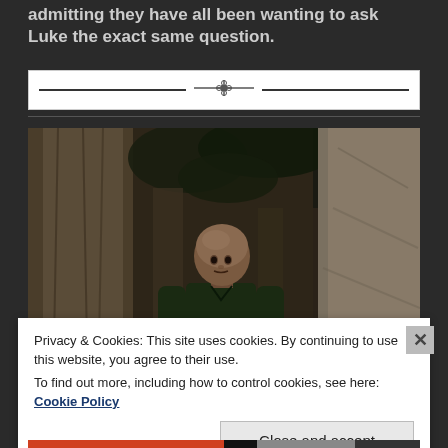admitting they have all been wanting to ask Luke the exact same question.
[Figure (illustration): Decorative ornamental divider bar with horizontal lines and a cross/fleur motif in the center, white background with border]
[Figure (screenshot): Video game screenshot showing a bald character in a dark green shirt standing in a forest with large trees and stone/rock formations in a dim woodland setting]
Privacy & Cookies: This site uses cookies. By continuing to use this website, you agree to their use.
To find out more, including how to control cookies, see here: Cookie Policy
Close and accept